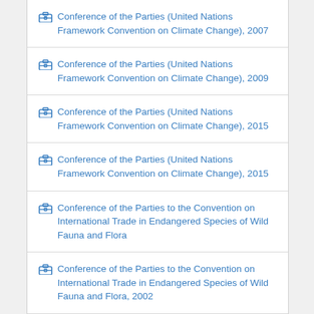Conference of the Parties (United Nations Framework Convention on Climate Change), 2007
Conference of the Parties (United Nations Framework Convention on Climate Change), 2009
Conference of the Parties (United Nations Framework Convention on Climate Change), 2015
Conference of the Parties (United Nations Framework Convention on Climate Change), 2015
Conference of the Parties to the Convention on International Trade in Endangered Species of Wild Fauna and Flora
Conference of the Parties to the Convention on International Trade in Endangered Species of Wild Fauna and Flora, 2002